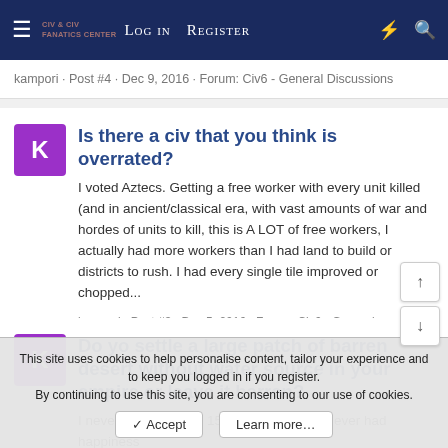≡  Civ & CIV Fanatics Center  Log in  Register
kampori · Post #4 · Dec 9, 2016 · Forum: Civ6 - General Discussions
Is there a civ that you think is overrated?
I voted Aztecs. Getting a free worker with every unit killed (and in ancient/classical era, with vast amounts of war and hordes of units to kill, this is A LOT of free workers, I actually had more workers than I had land to build or districts to rush. I had every single tile improved or chopped...
kampori · Post #3 · Dec 5, 2016 · Forum: Civ6 - General Discussions
Do yo settle a large patch of barren desert without water source in your empire or leave it barren?
I never had less than 15 cities in CiV and never had happiness
This site uses cookies to help personalise content, tailor your experience and to keep you logged in if you register.
By continuing to use this site, you are consenting to our use of cookies.
✓ Accept    Learn more…